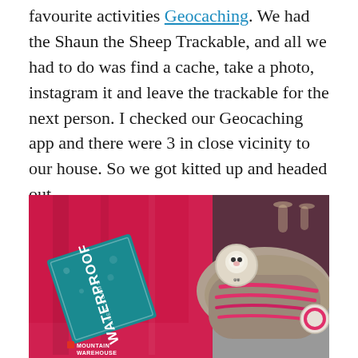favourite activities Geocaching. We had the Shaun the Sheep Trackable, and all we had to do was find a cache, take a photo, instagram it and leave the trackable for the next person. I checked our Geocaching app and there were 3 in close vicinity to our house. So we got kitted up and headed out.
[Figure (photo): Photo of outdoor gear laid out: a bright pink waterproof jacket with a teal/green 'Waterproof' hang tag, and grey/pink trail shoes with pink laces. A Shaun the Sheep Trackable badge is visible on top of the shoes. Mountain Warehouse logo appears at bottom left of image. Items are on a grey stone countertop with wine glasses visible in background.]